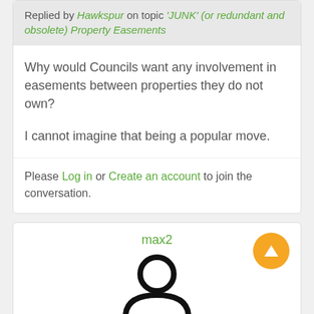Replied by Hawkspur on topic 'JUNK' (or redundant and obsolete) Property Easements
Why would Councils want any involvement in easements between properties they do not own?
I cannot imagine that being a popular move.
Please Log in or Create an account to join the conversation.
max2